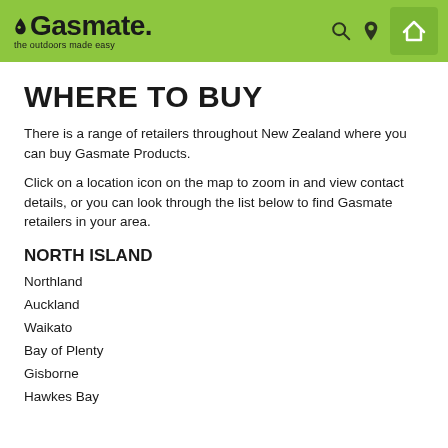Gasmate — the outdoors made easy
WHERE TO BUY
There is a range of retailers throughout New Zealand where you can buy Gasmate Products.
Click on a location icon on the map to zoom in and view contact details, or you can look through the list below to find Gasmate retailers in your area.
NORTH ISLAND
Northland
Auckland
Waikato
Bay of Plenty
Gisborne
Hawkes Bay